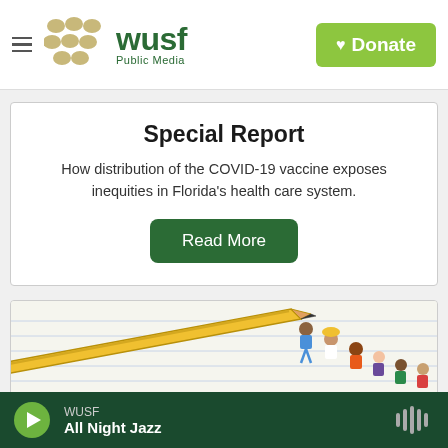WUSF Public Media — Donate
Special Report
How distribution of the COVID-19 vaccine exposes inequities in Florida's health care system.
Read More
[Figure (illustration): Illustration of children riding on a large yellow pencil over notebook-lined paper background, with partially visible text 'CLASS OF' at the bottom]
WUSF — All Night Jazz (media player bar)